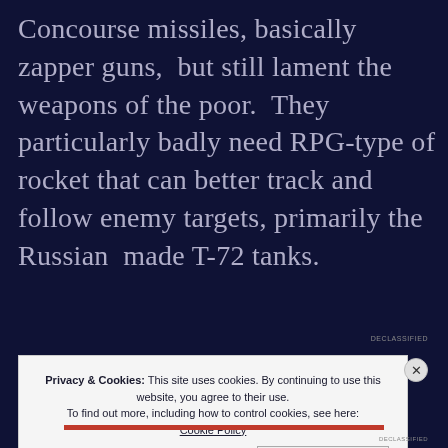Concourse missiles, basically zapper guns, but still lament the weapons of the poor. They particularly badly need RPG-type of rocket that can better track and follow enemy targets, primarily the Russian made T-72 tanks.
Privacy & Cookies: This site uses cookies. By continuing to use this website, you agree to their use. To find out more, including how to control cookies, see here: Cookie Policy
Close and accept